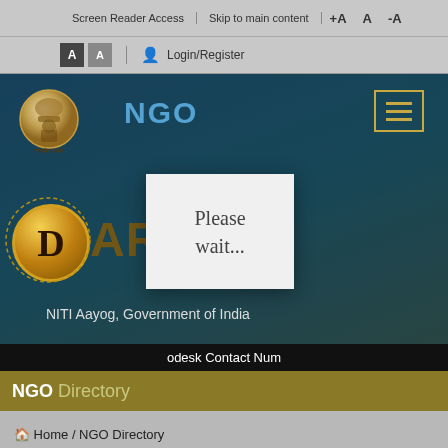Screen Reader Access | Skip to main content | +A  A  -A
A  A  Login/Register
[Figure (screenshot): DARPAN NGO portal hero banner with India government emblem, NGO text, hamburger menu, DARPAN coin logo, and NITI Aayog Government of India text on dark blue background]
Please wait...
odesk Contact Num
NGO Directory
Home / NGO Directory